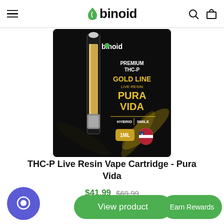binoid
[Figure (photo): Binoid Premium THC-P Gold Line Live Resin Pura Vida vape cartridge product packaging on black background with gold leaf designs. Shows 1mL Hybrid/Smile variant with a USA badge.]
THC-P Live Resin Vape Cartridge - Pura Vida
$41.99  $69.99
View product
Earn Rewards